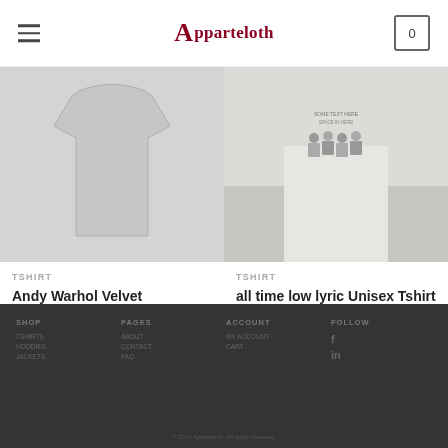Apparteloth - navigation header with hamburger menu and cart
[Figure (photo): Andy Warhol Velvet Underground Unisex Tshirt product image - blank grey t-shirt]
TSHIRT
Andy Warhol Velvet Underground Unisex Tshirt
$18.00 – $21.00
[Figure (photo): all time low lyric Unisex Tshirt product image - white t-shirt with graphic print]
TSHIRT
all time low lyric Unisex Tshirt
$18.00 – $21.00
Dark footer with navigation links and social icons